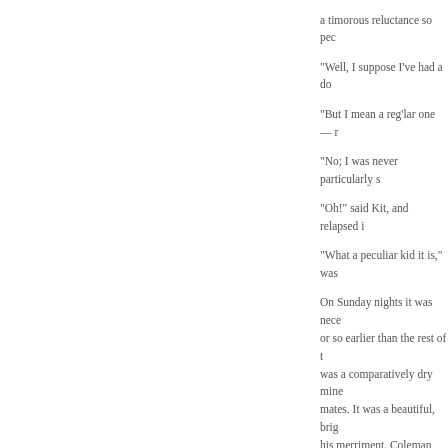a timorous reluctance so pec… "Well, I suppose I've had a do… "But I mean a reg'lar one — r… "No; I was never particularly s… "Oh!" said Kit, and relapsed i… "What a peculiar kid it is," was… On Sunday nights it was nece… or so earlier than the rest of t… was a comparatively dry mine… mates. It was a beautiful, brig… his merriment. Coleman was … silent in sympathy with his fri… They had been at work about… He and Charley were as yet t… night was unusually still. Not a… sound broke the silence exce… from the poppet-legs over the… upon the pipeclay below looke…